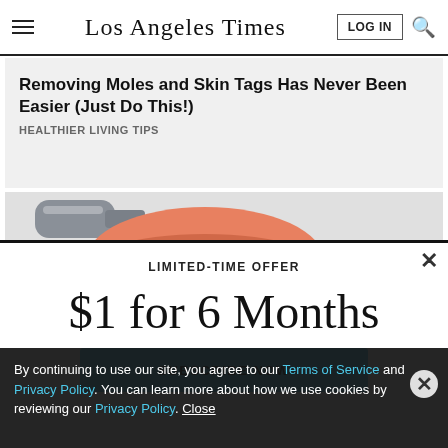Los Angeles Times — navigation bar with hamburger menu, LOG IN, and search icon
Removing Moles and Skin Tags Has Never Been Easier (Just Do This!)
HEALTHIER LIVING TIPS
[Figure (illustration): Partial illustration showing a syringe/applicator tip near skin, with orange/red coloring]
LIMITED-TIME OFFER
$1 for 6 Months
SUBSCRIBE NOW
By continuing to use our site, you agree to our Terms of Service and Privacy Policy. You can learn more about how we use cookies by reviewing our Privacy Policy. Close